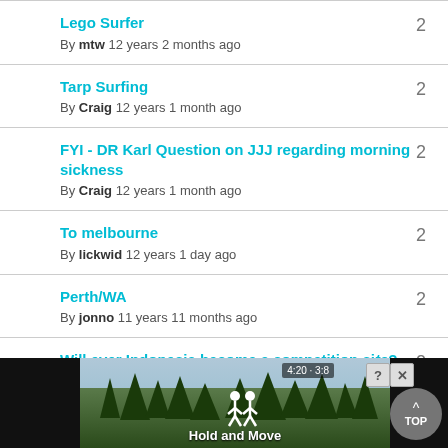Lego Surfer | By mtw 12 years 2 months ago | 2
Tarp Surfing | By Craig 12 years 1 month ago | 2
FYI - DR Karl Question on JJJ regarding morning sickness | By Craig 12 years 1 month ago | 2
To melbourne | By lickwid 12 years 1 day ago | 2
Perth/WA | By jonno 11 years 11 months ago | 2
Will ever Indonesia become a competition s... | B... | 2
[Figure (photo): Advertisement overlay at the bottom of the page showing 'Hold and Move' app with forest background, close and help icons, and a TOP button]